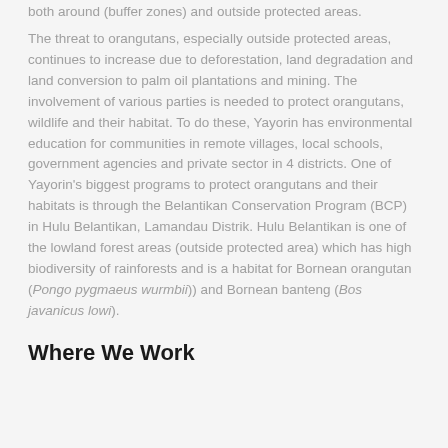both around (buffer zones) and outside protected areas.
The threat to orangutans, especially outside protected areas, continues to increase due to deforestation, land degradation and land conversion to palm oil plantations and mining. The involvement of various parties is needed to protect orangutans, wildlife and their habitat. To do these, Yayorin has environmental education for communities in remote villages, local schools, government agencies and private sector in 4 districts. One of Yayorin's biggest programs to protect orangutans and their habitats is through the Belantikan Conservation Program (BCP) in Hulu Belantikan, Lamandau Distrik. Hulu Belantikan is one of the lowland forest areas (outside protected area) which has high biodiversity of rainforests and is a habitat for Bornean orangutan (Pongo pygmaeus wurmbii)) and Bornean banteng (Bos javanicus lowi).
Where We Work